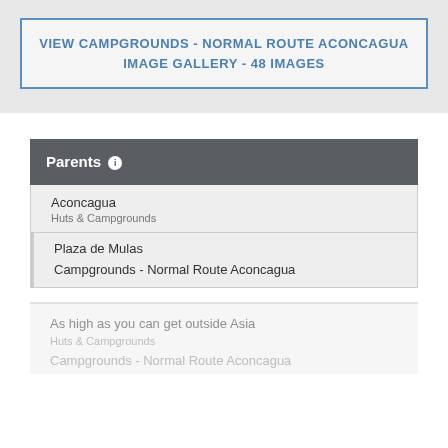VIEW CAMPGROUNDS - NORMAL ROUTE ACONCAGUA IMAGE GALLERY - 48 IMAGES
Parents
Aconcagua
Huts & Campgrounds
Plaza de Mulas
Campgrounds - Normal Route Aconcagua
As high as you can get outside Asia
Huts & Campgrounds
Campgrounds - Normal Route Aconcagua